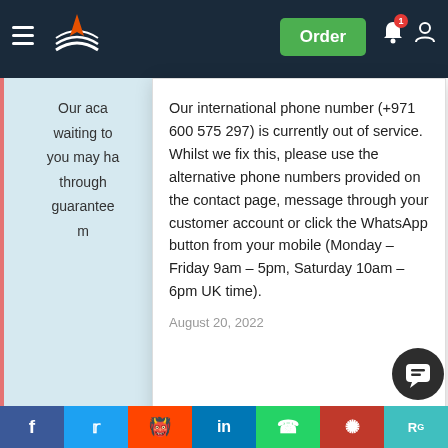Navigation bar with hamburger menu, logo, Order button, bell notification icon, user icon
[Figure (screenshot): Popup/tooltip notification overlay with text about international phone number out of service]
Our international phone number (+971 600 575 297) is currently out of service. Whilst we fix this, please use the alternative phone numbers provided on the contact page, message through your customer account or click the WhatsApp button from your mobile (Monday – Friday 9am – 5pm, Saturday 10am – 6pm UK time).
August 20, 2022
Our aca... waiting to... you may ha... through... guarantee... m...
The sociological imagination integrates the idea of personal trouble becoming a public issue and how the connections between biography and history becoming a public issue... biography and history play a major part in social structure. These